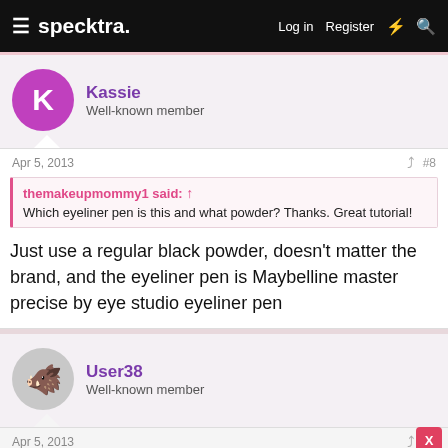specktra. | Log in | Register
Kassie
Well-known member
Apr 5, 2013  #8
themakeupmommy1 said: Which eyeliner pen is this and what powder? Thanks. Great tutorial!
Just use a regular black powder, doesn't matter the brand, and the eyeliner pen is Maybelline master precise by eye studio eyeliner pen
User38
Well-known member
Apr 5, 2013  #9